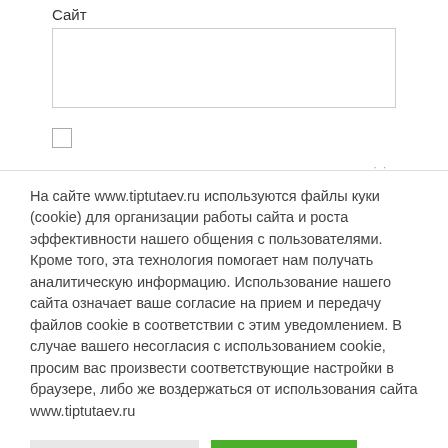Сайт
(input field)
(checkbox)
На сайте www.tiptutaev.ru используются файлы куки (cookie) для организации работы сайта и роста эффективности нашего общения с пользователями. Кроме того, эта технология помогает нам получать аналитическую информацию. Использование нашего сайта означает ваше согласие на прием и передачу файлов cookie в соответствии с этим уведомлением. В случае вашего несогласия с использованием cookie, просим вас произвести соответствующие настройки в браузере, либо же воздержаться от использования сайта www.tiptutaev.ru
Настройка Cookie
Принять всё